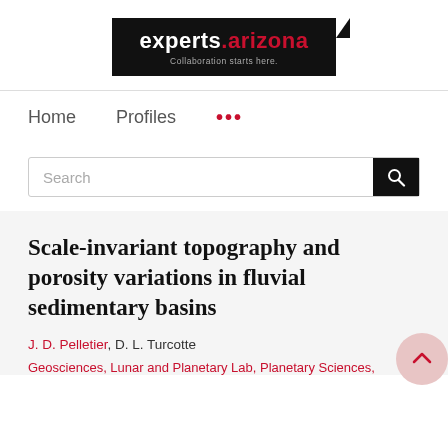[Figure (logo): experts.arizona logo — black background with white 'experts' text, red '.arizona' text, and gray tagline 'Collaboration starts here.']
Home   Profiles   ...
Search
Scale-invariant topography and porosity variations in fluvial sedimentary basins
J. D. Pelletier, D. L. Turcotte
Geosciences, Lunar and Planetary Lab, Planetary Sciences,